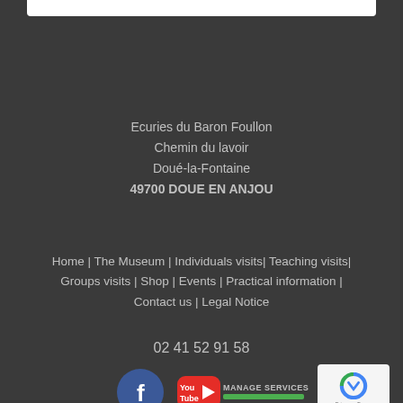Ecuries du Baron Foullon
Chemin du lavoir
Doué-la-Fontaine
49700 DOUE EN ANJOU
Home | The Museum | Individuals visits| Teaching visits| Groups visits | Shop | Events | Practical information | Contact us | Legal Notice
02 41 52 91 58
[Figure (logo): Facebook logo icon (blue circle with white f)]
[Figure (logo): YouTube logo icon (red rounded rectangle with white play button and You/Tube text)]
MANAGE SERVICES
[Figure (logo): reCAPTCHA logo with Privacy - Terms text]